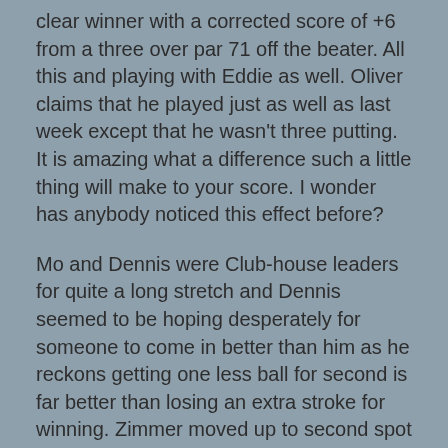clear winner with a corrected score of +6 from a three over par 71 off the beater.  All this and playing with Eddie as well.  Oliver claims that he played just as well as last week except that he wasn't three putting.  It is amazing what a difference such a little thing will make to your score.  I wonder has anybody noticed this effect before?
Mo and Dennis were Club-house leaders for quite a long stretch and Dennis seemed to be hoping desperately for someone to come in better than him as he reckons getting one less ball for second is far better than losing an extra stroke for winning.  Zimmer moved up to second spot with his corrected score.
The two Andrews and Mike didn't do their handicaps too much harm while Bill, Tony and Chris will maintain